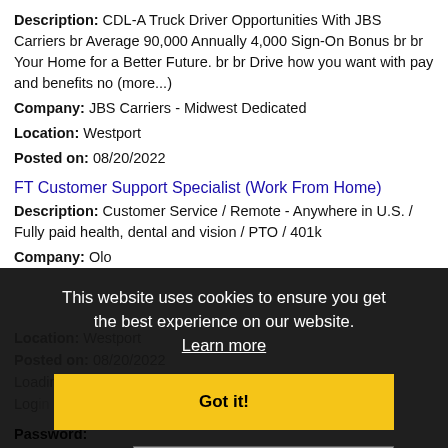Description: CDL-A Truck Driver Opportunities With JBS Carriers br Average 90,000 Annually 4,000 Sign-On Bonus br br Your Home for a Better Future. br br Drive how you want with pay and benefits no (more...)
Company: JBS Carriers - Midwest Dedicated
Location: Westport
Posted on: 08/20/2022
FT Customer Support Specialist (Work From Home)
Description: Customer Service / Remote - Anywhere in U.S. / Fully paid health, dental and vision / PTO / 401k
Company: Olo
Location: Westport
Posted on: 08/20/2022
Loading more jobs
Log in or Create An Account
This website uses cookies to ensure you get the best experience on our website. Learn more
Got it!
Username:
Password: